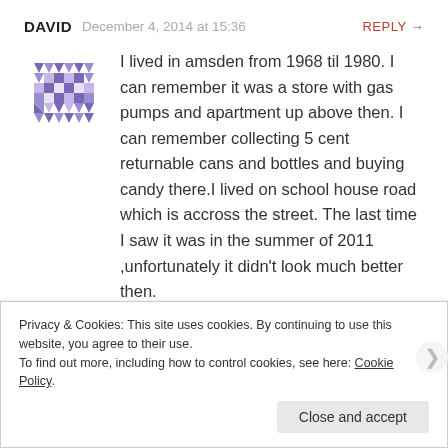DAVID  December 4, 2014 at 15:36  REPLY →
I lived in amsden from 1968 til 1980. I can remember it was a store with gas pumps and apartment up above then. I can remember collecting 5 cent returnable cans and bottles and buying candy there.I lived on school house road which is accross the street. The last time I saw it was in the summer of 2011 ,unfortunately it didn't look much better then.
Privacy & Cookies: This site uses cookies. By continuing to use this website, you agree to their use.
To find out more, including how to control cookies, see here: Cookie Policy